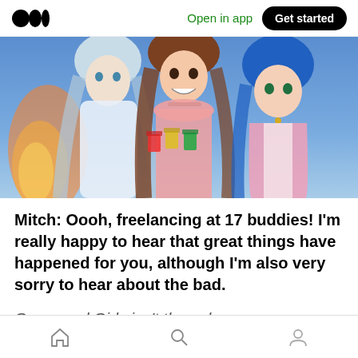Open in app   Get started
[Figure (illustration): Anime-style illustration of three girls holding colorful shot glasses (red, yellow, green) in a toasting pose against a blue-sky background. Left girl has long light hair in white outfit, center girl has brown hair in pink top with choker, right girl has short blue hair in pink cardigan.]
Mitch: Oooh, freelancing at 17 buddies! I'm really happy to hear that great things have happened for you, although I'm also very sorry to hear about the bad.
Graveyard Girls isn't the only game your
Home  Search  Profile